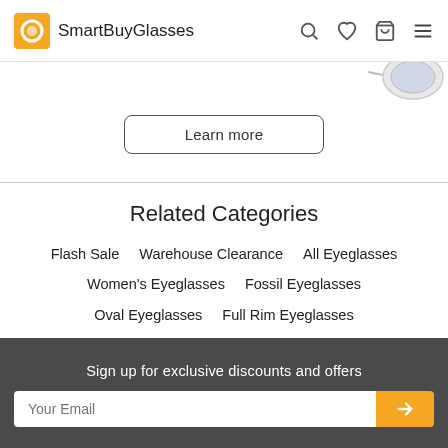SmartBuyGlasses
[Figure (illustration): Partial view of eyeglasses product image in top right corner]
Learn more
Related Categories
Flash Sale
Warehouse Clearance
All Eyeglasses
Women's Eyeglasses
Fossil Eyeglasses
Oval Eyeglasses
Full Rim Eyeglasses
Pink Eyeglasses
Multifocal/Progressive Lenses
Single Vision Lenses
Virtual Try-On
Sign up for exclusive discounts and offers